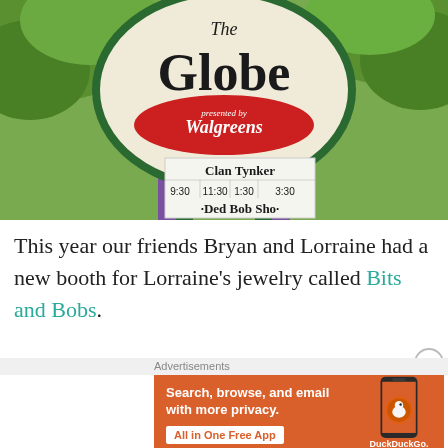[Figure (photo): Photo of The Globe theatre sign with Walgreens sponsorship, showing Clan Tynker show times 9:30, 11:30, 1:30, 3:30 and Ded Bob Sho, surrounded by green trees]
This year our friends Bryan and Lorraine had a new booth for Lorraine's jewelry called Bits and Bobs.
[Figure (infographic): DuckDuckGo advertisement banner with orange background. Text: Search, browse, and email with more privacy. All in One Free App. Shows DuckDuckGo app on phone.]